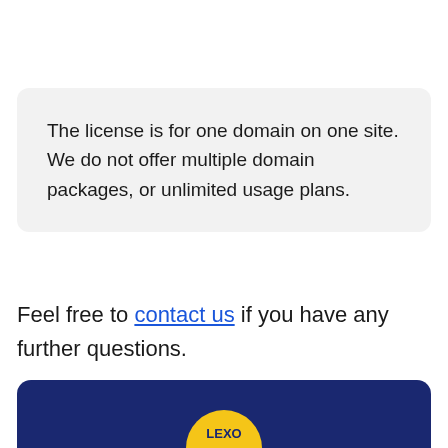The license is for one domain on one site. We do not offer multiple domain packages, or unlimited usage plans.
Feel free to contact us if you have any further questions.
[Figure (logo): Dark navy blue rounded rectangle banner at the bottom of the page with a partial yellow circular logo visible]